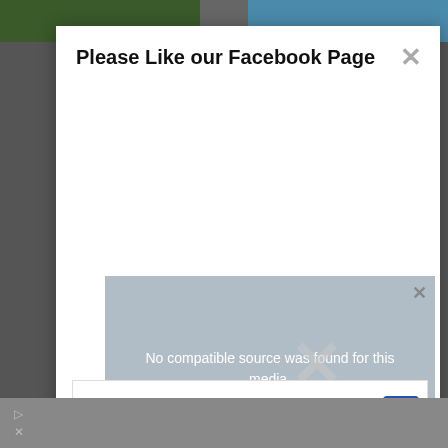[Figure (screenshot): Background webpage with two landscape thumbnail images at top (dark green forest on left, blue ocean/water on right)]
Please Like our Facebook Page
[Figure (screenshot): White modal dialog with 'Please Like our Facebook Page' title and close X button, with empty white body area]
No compatible source was found for this media.
Shop Walgreens Brand Health & Wellness Today
[Figure (screenshot): Walgreens advertisement banner with red cursive W logo, bold text 'Shop Walgreens Brand Health & Wellness Today', and blue navigation arrow icon]